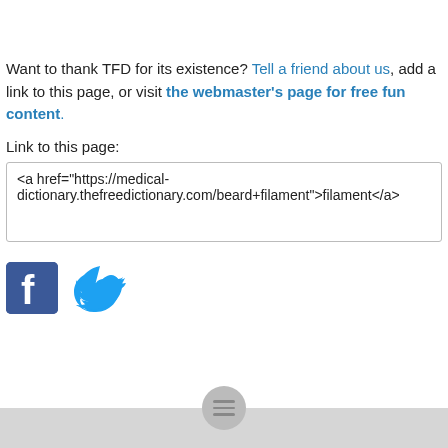Want to thank TFD for its existence? Tell a friend about us, add a link to this page, or visit the webmaster's page for free fun content.
Link to this page:
<a href="https://medical-dictionary.thefreedictionary.com/beard+filament">filament</a>
[Figure (logo): Facebook and Twitter social media icons]